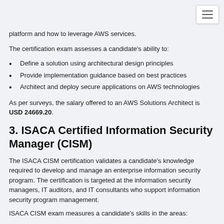platform and how to leverage AWS services.
The certification exam assesses a candidate's ability to:
Define a solution using architectural design principles
Provide implementation guidance based on best practices
Architect and deploy secure applications on AWS technologies
As per surveys, the salary offered to an AWS Solutions Architect is USD 24669.20.
3. ISACA Certified Information Security Manager (CISM)
The ISACA CISM certification validates a candidate's knowledge required to develop and manage an enterprise information security program. The certification is targeted at the information security managers, IT auditors, and IT consultants who support information security program management.
ISACA CISM exam measures a candidate's skills in the areas: